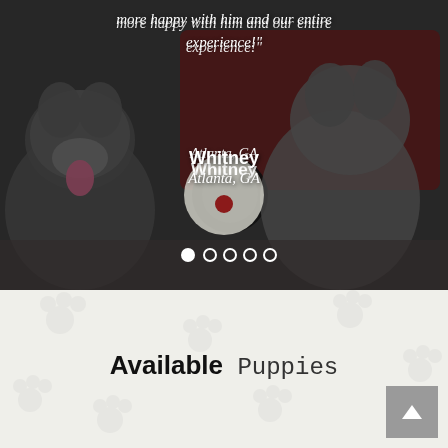[Figure (photo): Two French Bulldogs sitting in front of a red car outdoors. The background shows a dark overlay photo. A circular avatar/profile placeholder is centered with a red heart icon inside.]
more happy with him and our entire experience!"
Whitney
Atlanta, GA
Carousel navigation dots: 5 dots, first filled white, rest outlined
Available Puppies